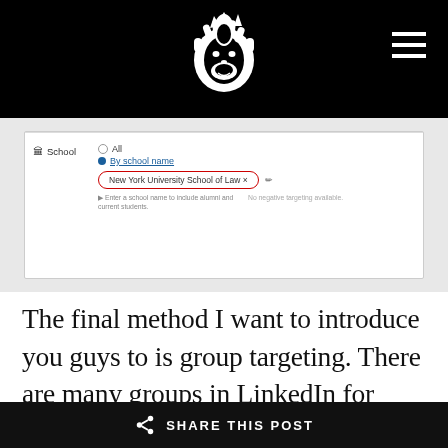Lion logo with hamburger menu
[Figure (screenshot): LinkedIn ad targeting interface showing School targeting option with 'By school name' selected and 'New York University School of Law' entered in a field highlighted with a red oval. Hint text reads 'Enter a school name to include alumni and current students.' No negative targeting available.]
The final method I want to introduce you guys to is group targeting. There are many groups in LinkedIn for business owners to network, refer business to each other, etc. Unlike with Facebook, LinkedIn lets anyone target these groups with ads, you don't need
SHARE THIS POST